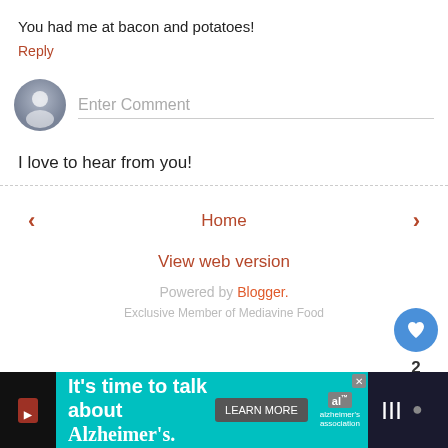You had me at bacon and potatoes!
Reply
[Figure (other): User avatar placeholder icon (gray circle with silhouette) next to Enter Comment input field]
I love to hear from you!
< Home >
View web version
Powered by Blogger.
Exclusive Member of Mediavine Food
[Figure (other): Floating action buttons: blue heart button, count '2', and share button]
[Figure (other): Advertisement banner: It's time to talk about Alzheimer's. with LEARN MORE button and Alzheimer's Association logo]